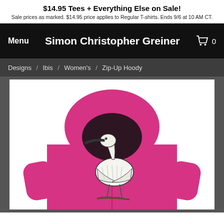$14.95 Tees + Everything Else on Sale! Sale prices as marked. $14.95 price applies to Regular T-shirts. Ends 9/6 at 10 AM CT.
Simon Christopher Greiner
Menu
0
Designs / Ibis / Women's / Zip-Up Hoody
[Figure (photo): Pink zip-up hoodie shown from the back with an ibis bird illustration printed on the back]